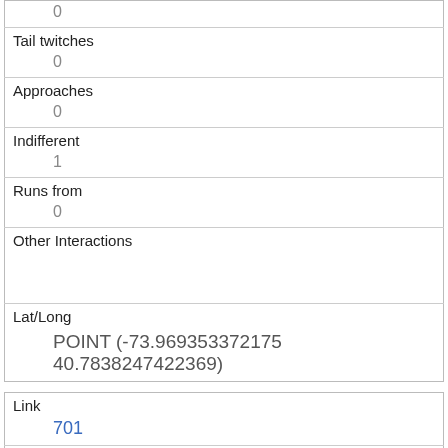| Field | Value |
| --- | --- |
|  | 0 |
| Tail twitches | 0 |
| Approaches | 0 |
| Indifferent | 1 |
| Runs from | 0 |
| Other Interactions |  |
| Lat/Long | POINT (-73.969353372175 40.7838247422369) |
| Field | Value |
| --- | --- |
| Link | 701 |
| rowid | 701 |
| longitude | -73.95292302079079 |